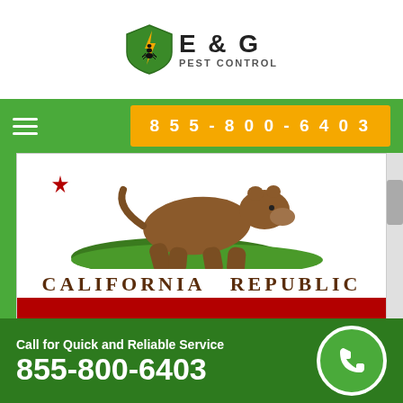[Figure (logo): E & G Pest Control shield logo with lightning bolt and ant, text E & G PEST CONTROL]
[Figure (infographic): Navigation bar on green background with hamburger menu icon on left and orange phone number button 855-800-6403 on right]
[Figure (photo): California Republic state flag showing grizzly bear walking on grass, text CALIFORNIA REPUBLIC, and red stripe at bottom]
California, a western U.S. state, stretches from the Mexican border along the Pacific for nearly
Call for Quick and Reliable Service
855-800-6403